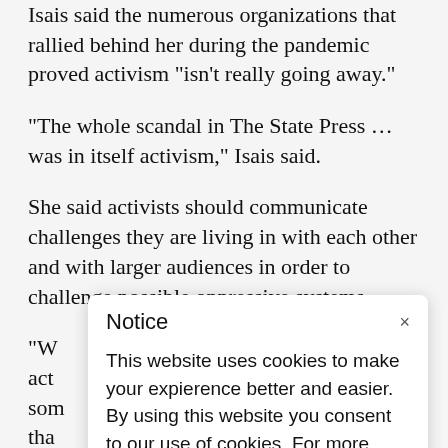Isais said the numerous organizations that rallied behind her during the pandemic proved activism "isn't really going away."
"The whole scandal in The State Press … was in itself activism," Isais said.
She said activists should communicate challenges they are living in with each other and with larger audiences in order to challenge possible oppressive systems.
"W... act... som... tha... mo... do...
[Figure (screenshot): Cookie notice modal dialog with title 'Notice', close button 'x', and text: 'This website uses cookies to make your expierence better and easier. By using this website you consent to our use of cookies. For more information, please see our Cookie Policy.']